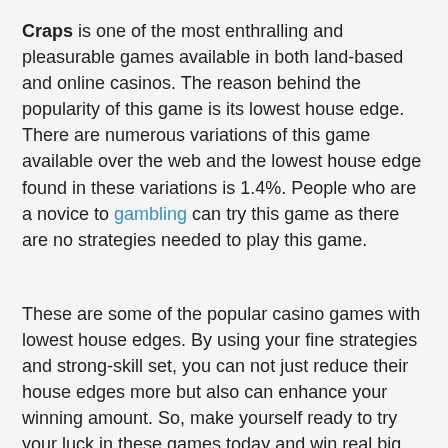Craps is one of the most enthralling and pleasurable games available in both land-based and online casinos. The reason behind the popularity of this game is its lowest house edge. There are numerous variations of this game available over the web and the lowest house edge found in these variations is 1.4%. People who are a novice to gambling can try this game as there are no strategies needed to play this game.
These are some of the popular casino games with lowest house edges. By using your fine strategies and strong-skill set, you can not just reduce their house edges more but also can enhance your winning amount. So, make yourself ready to try your luck in these games today and win real big cash.